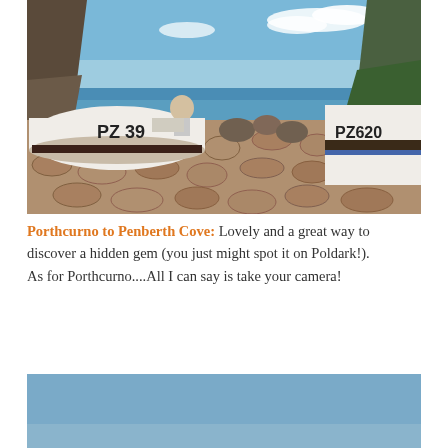[Figure (photo): Coastal scene at Penberth Cove showing two fishing boats on a cobblestone slipway. A person sits in the left boat labeled 'PZ 39'. The right boat is partially visible labeled 'PZ620'. Rocky cliffs and blue sea visible in the background under a clear blue sky.]
Porthcurno to Penberth Cove: Lovely and a great way to discover a hidden gem (you just might spot it on Poldark!).  As for Porthcurno....All I can say is take your camera!
[Figure (photo): Partial view of a second photo, showing mostly blue sky with a hint of sea or landscape below.]